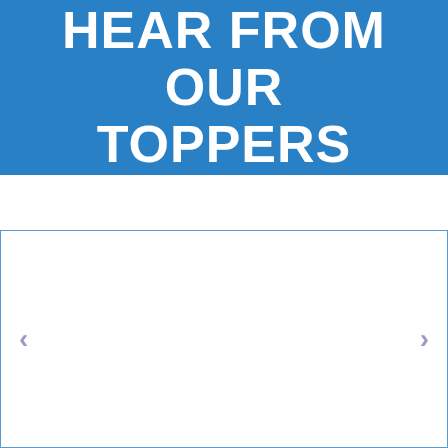HEAR FROM OUR TOPPERS
[Figure (screenshot): A carousel widget with left and right navigation arrows (chevrons) on a white background, bordered with a blue outline. The carousel content area is empty/blank.]